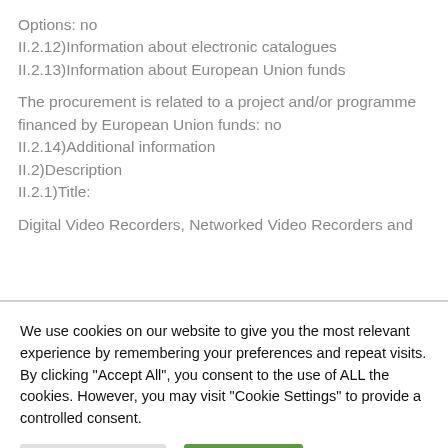Options: no
II.2.12)Information about electronic catalogues
II.2.13)Information about European Union funds
The procurement is related to a project and/or programme financed by European Union funds: no
II.2.14)Additional information
II.2)Description
II.2.1)Title:
Digital Video Recorders, Networked Video Recorders and
We use cookies on our website to give you the most relevant experience by remembering your preferences and repeat visits. By clicking "Accept All", you consent to the use of ALL the cookies. However, you may visit "Cookie Settings" to provide a controlled consent.
Cookie Settings
Accept All